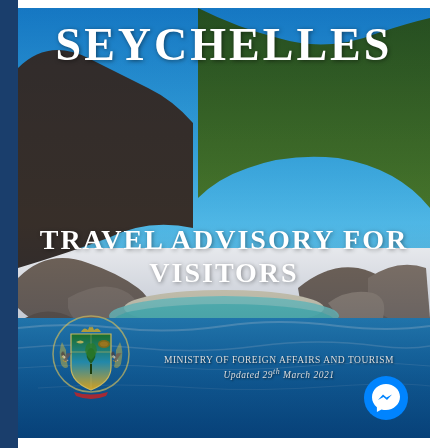[Figure (photo): Cover page photo of Seychelles tropical island beach with turquoise water, white sand, granite boulders, and lush green hillside under blue sky]
SEYCHELLES
TRAVEL ADVISORY FOR VISITORS
[Figure (logo): Coat of arms of Seychelles — shield with sailfish and tortoise, supporters, and ribbon]
MINISTRY OF FOREIGN AFFAIRS AND TOURISM
Updated 29th March 2021
[Figure (other): Facebook Messenger chat button (blue circle with lightning bolt icon)]